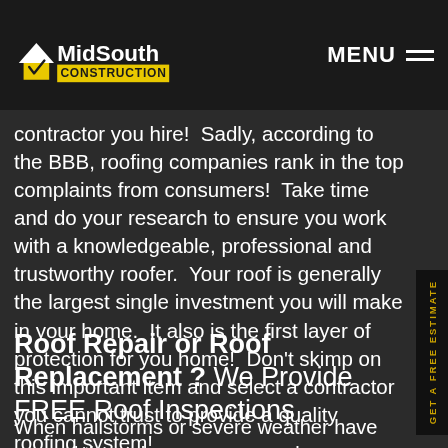MidSouth Construction | MENU
contractor you hire!  Sadly, according to the BBB, roofing companies rank in the top complaints from consumers!  Take time and do your research to ensure you work with a knowledgeable, professional and trustworthy roofer.  Your roof is generally the largest single investment you will make in your home.  It also is the first layer of protection for you home!  Don't skimp on this important item and select a contractor you cannot trust to provide a quality roofing system!
Roof Repair or Roof Replacement ? We Provide FREE Roof Inspections
When hailstorms or severe weather have passed through your area, we always